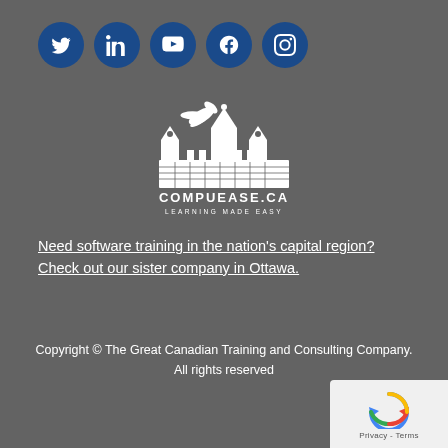[Figure (infographic): Row of 5 social media icons (Twitter, LinkedIn, YouTube, Facebook, Instagram) as white icons on dark blue circular backgrounds]
[Figure (logo): CompuEase.ca logo — white illustration of Parliament buildings with a goose flying overhead, text 'COMPUEASE.CA' and 'LEARNING MADE EASY' below]
Need software training in the nation's capital region? Check out our sister company in Ottawa.
Copyright © The Great Canadian Training and Consulting Company. All rights reserved